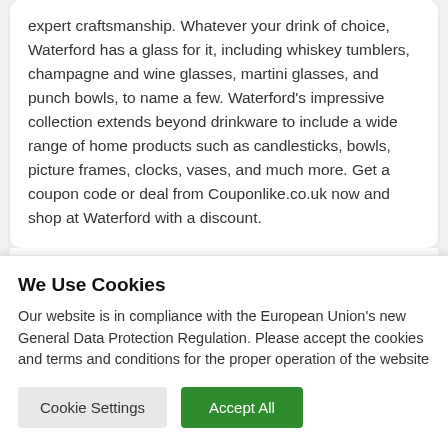expert craftsmanship. Whatever your drink of choice, Waterford has a glass for it, including whiskey tumblers, champagne and wine glasses, martini glasses, and punch bowls, to name a few. Waterford's impressive collection extends beyond drinkware to include a wide range of home products such as candlesticks, bowls, picture frames, clocks, vases, and much more. Get a coupon code or deal from Couponlike.co.uk now and shop at Waterford with a discount.
By Ellen, your Waterford deal expert
We Use Cookies
Our website is in compliance with the European Union's new General Data Protection Regulation. Please accept the cookies and terms and conditions for the proper operation of the website